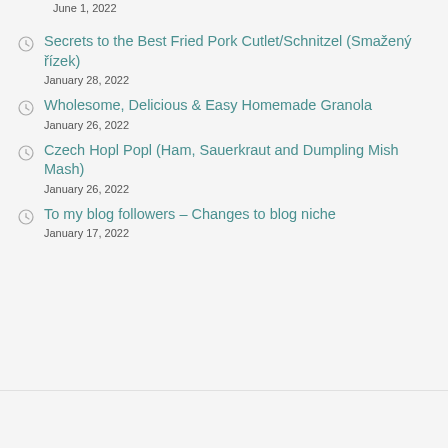June 1, 2022
Secrets to the Best Fried Pork Cutlet/Schnitzel (Smažený řízek)
January 28, 2022
Wholesome, Delicious & Easy Homemade Granola
January 26, 2022
Czech Hopl Popl (Ham, Sauerkraut and Dumpling Mish Mash)
January 26, 2022
To my blog followers – Changes to blog niche
January 17, 2022